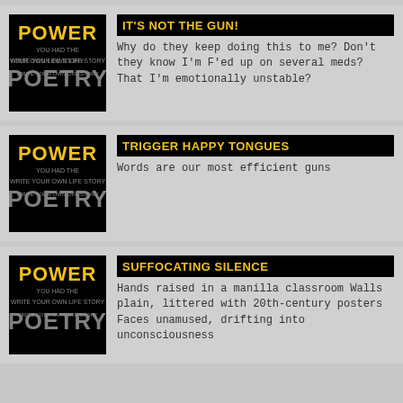[Figure (illustration): Power to Poetry logo on black background - card 1]
IT'S NOT THE GUN!
Why do they keep doing this to me? Don't they know I'm F'ed up on several meds? That I'm emotionally unstable?
[Figure (illustration): Power to Poetry logo on black background - card 2]
TRIGGER HAPPY TONGUES
Words are our most efficient guns
[Figure (illustration): Power to Poetry logo on black background - card 3]
SUFFOCATING SILENCE
Hands raised in a manilla classroom Walls plain, littered with 20th-century posters Faces unamused, drifting into unconsciousness